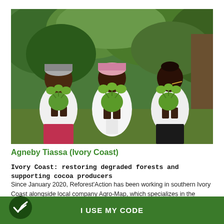[Figure (photo): Three African women in white t-shirts standing in a lush green forest, each holding small potted tree saplings. They are smiling and appear to be part of a reforestation program.]
Agneby Tiassa (Ivory Coast)
Ivory Coast: restoring degraded forests and supporting cocoa producers
Since January 2020, Reforest'Action has been working in southern Ivory Coast alongside local company Agro-Map, which specializes in the development of sustainability projects in the agricultural, forestry and environmental fields. The
I USE MY CODE